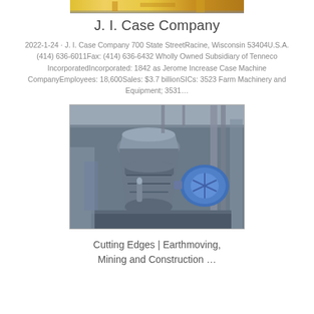[Figure (photo): Partial top image of J. I. Case Company machinery, yellow/orange equipment]
J. I. Case Company
2022-1-24 · J. I. Case Company 700 State StreetRacine, Wisconsin 53404U.S.A.(414) 636-6011Fax: (414) 636-6432 Wholly Owned Subsidiary of Tenneco IncorporatedIncorporated: 1842 as Jerome Increase Case Machine CompanyEmployees: 18,600Sales: $3.7 billionSICs: 3523 Farm Machinery and Equipment; 3531…
[Figure (photo): Industrial mining/crushing machinery, large grey cone crusher with blue motor component, industrial facility interior]
Cutting Edges | Earthmoving, Mining and Construction …